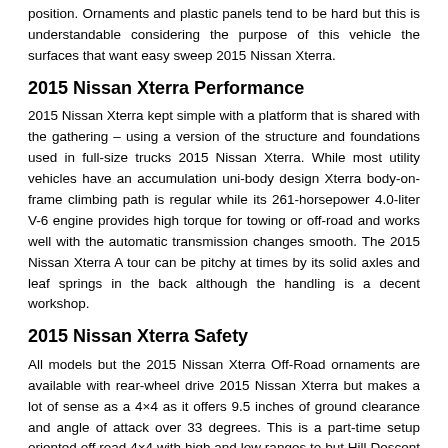position. Ornaments and plastic panels tend to be hard but this is understandable considering the purpose of this vehicle the surfaces that want easy sweep 2015 Nissan Xterra.
2015 Nissan Xterra Performance
2015 Nissan Xterra kept simple with a platform that is shared with the gathering – using a version of the structure and foundations used in full-size trucks 2015 Nissan Xterra. While most utility vehicles have an accumulation uni-body design Xterra body-on-frame climbing path is regular while its 261-horsepower 4.0-liter V-6 engine provides high torque for towing or off-road and works well with the automatic transmission changes smooth. The 2015 Nissan Xterra A tour can be pitchy at times by its solid axles and leaf springs in the back although the handling is a decent workshop.
2015 Nissan Xterra Safety
All models but the 2015 Nissan Xterra Off-Road ornaments are available with rear-wheel drive 2015 Nissan Xterra but makes a lot of sense as a 4×4 as it offers 9.5 inches of ground clearance and angle of attack over 33 degrees. This is a part-time setup oriented off road 4×4 with high and low ranges to but Hill Descent Control Hill Start Assist to and electronic stability control system help keep everyone in check and make the most of its traction. 2015 Nissan Xterra is running in its class for safety with less-than-best ratings in the IIHS rear impact and roof strength tests but good results otherwise. Several features include with the option stability control and to Hill Descent Control